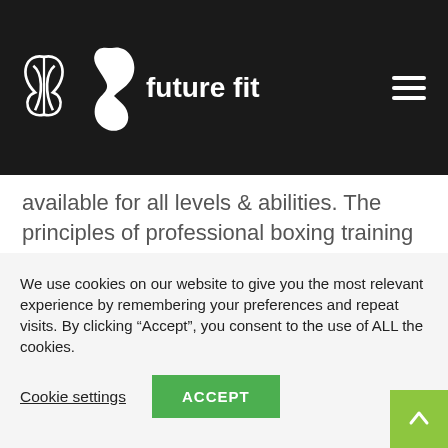future fit
available for all levels & abilities. The principles of professional boxing training as well as the principles of functional fitness are combined to form a unique training programme. The benefits are endless as well as physical strength it is [...]
Read more
We use cookies on our website to give you the most relevant experience by remembering your preferences and repeat visits. By clicking “Accept”, you consent to the use of ALL the cookies.
Cookie settings
ACCEPT